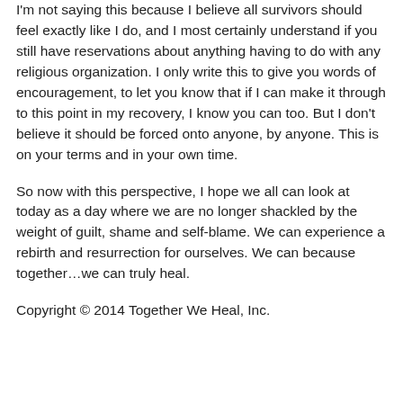I'm not saying this because I believe all survivors should feel exactly like I do, and I most certainly understand if you still have reservations about anything having to do with any religious organization. I only write this to give you words of encouragement, to let you know that if I can make it through to this point in my recovery, I know you can too. But I don't believe it should be forced onto anyone, by anyone. This is on your terms and in your own time.
So now with this perspective, I hope we all can look at today as a day where we are no longer shackled by the weight of guilt, shame and self-blame. We can experience a rebirth and resurrection for ourselves. We can because together…we can truly heal.
Copyright © 2014 Together We Heal, Inc.